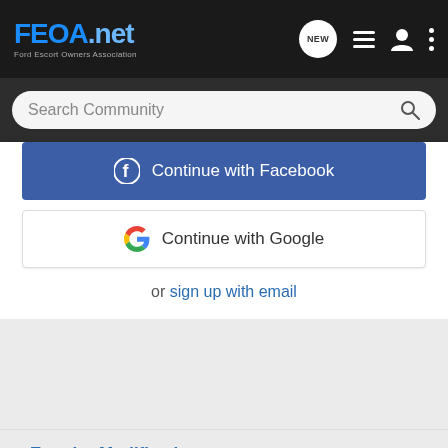[Figure (screenshot): FEOA.net website header with logo and navigation icons on dark background]
[Figure (screenshot): Search Community search bar on dark background]
[Figure (screenshot): Continue with Facebook blue button]
[Figure (screenshot): Continue with Google white button]
or sign up with email
< Exterior Modifications
Home  About Us  Terms of Use  Privacy Policy  Help  Business Directory  Contact Us  |  Grow Your Business  NEW  [RSS]  VerticalScope Inc., 111 Peter Street, Suite 600, Toronto,